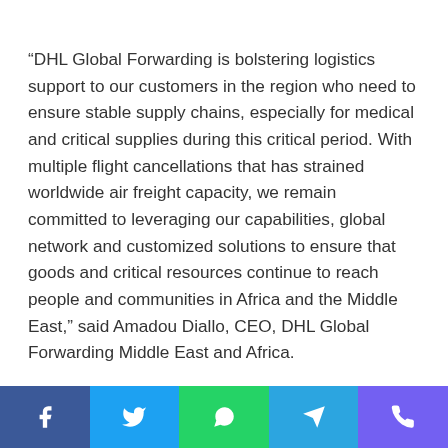“DHL Global Forwarding is bolstering logistics support to our customers in the region who need to ensure stable supply chains, especially for medical and critical supplies during this critical period. With multiple flight cancellations that has strained worldwide air freight capacity, we remain committed to leveraging our capabilities, global network and customized solutions to ensure that goods and critical resources continue to reach people and communities in Africa and the Middle East,” said Amadou Diallo, CEO, DHL Global Forwarding Middle East and Africa.
[Figure (other): Social media share buttons: Facebook, Twitter, WhatsApp, Telegram, Viber]